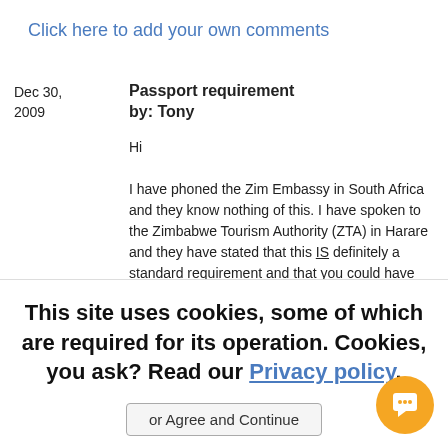Click here to add your own comments
Dec 30, 2009
Passport requirement
by: Tony
Hi

I have phoned the Zim Embassy in South Africa and they know nothing of this. I have spoken to the Zimbabwe Tourism Authority (ZTA) in Harare and they have stated that this IS definitely a standard requirement and that you could have
This site uses cookies, some of which are required for its operation. Cookies, you ask? Read our Privacy policy.
or Agree and Continue